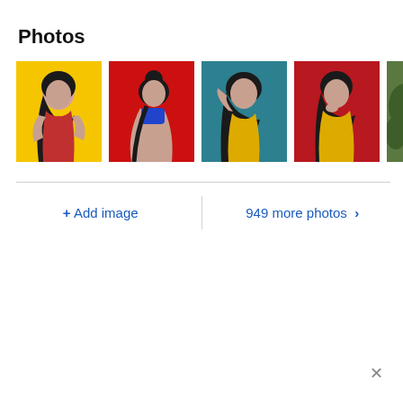Photos
[Figure (photo): Photo gallery row showing 4+ photos of a woman with dark hair against colorful backgrounds (yellow, red, teal, red)]
+ Add image
949 more photos >
×